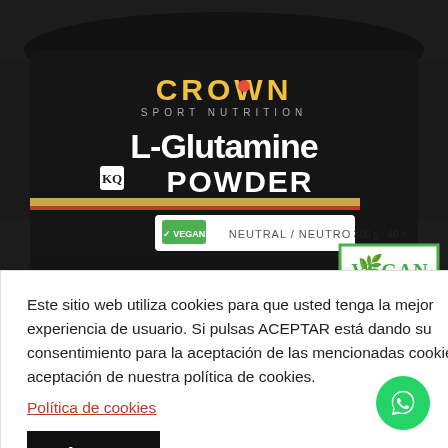[Figure (photo): Crown Sport Nutrition L-Glutamine KQ Powder product container, black jar with gold and white text, NEUTRAL/NEUTRO flavor label, 300g/40 servings, Vegan badge shown, green VEGAN badge overlay in bottom right corner]
Este sitio web utiliza cookies para que usted tenga la mejor experiencia de usuario. Si pulsas ACEPTAR está dando su consentimiento para la aceptación de las mencionadas cookies y la aceptación de nuestra política de cookies.
Política de cookies
Acepto